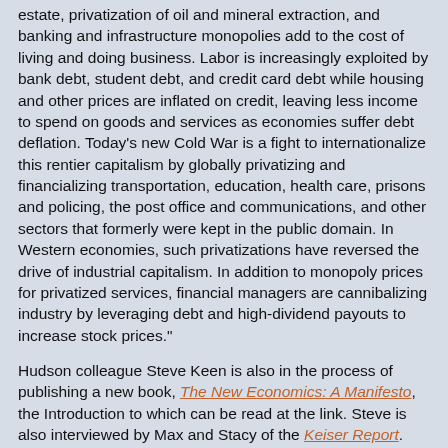estate, privatization of oil and mineral extraction, and banking and infrastructure monopolies add to the cost of living and doing business. Labor is increasingly exploited by bank debt, student debt, and credit card debt while housing and other prices are inflated on credit, leaving less income to spend on goods and services as economies suffer debt deflation. Today's new Cold War is a fight to internationalize this rentier capitalism by globally privatizing and financializing transportation, education, health care, prisons and policing, the post office and communications, and other sectors that formerly were kept in the public domain. In Western economies, such privatizations have reversed the drive of industrial capitalism. In addition to monopoly prices for privatized services, financial managers are cannibalizing industry by leveraging debt and high‑dividend payouts to increase stock prices."
Hudson colleague Steve Keen is also in the process of publishing a new book, The New Economics: A Manifesto, the Introduction to which can be read at the link. Steve is also interviewed by Max and Stacy of the Keiser Report.
Yes, it's the inevitable avalanche of material that arrives after every holiday weekend. I could easily add ten news items of importance but will ask a simple question: Was